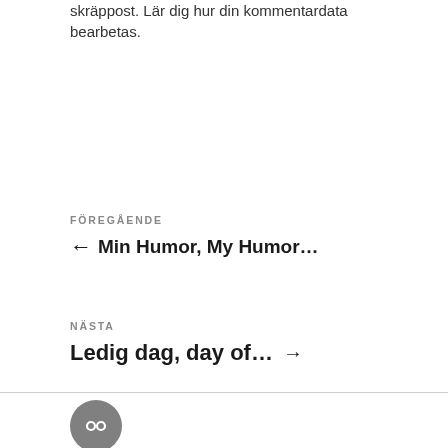skräppost. Lär dig hur din kommentardata bearbetas.
FÖREGÅENDE
← Min Humor, My Humor…
NÄSTA
Ledig dag, day of… →
Drivs med WordPress